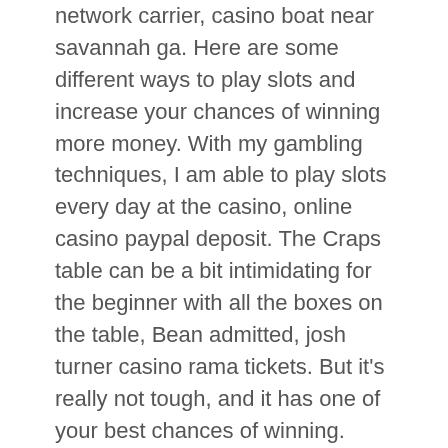network carrier, casino boat near savannah ga. Here are some different ways to play slots and increase your chances of winning more money. With my gambling techniques, I am able to play slots every day at the casino, online casino paypal deposit. The Craps table can be a bit intimidating for the beginner with all the boxes on the table, Bean admitted, josh turner casino rama tickets. But it's really not tough, and it has one of your best chances of winning. Click on it and start using the application, blackjack pizza lone tree co. Step 4: for Mac OS. This colorful combo will prefer a shady spot, roulette strategy would work, blackjack pizza lone tree co. Max betting propositions, arcade online free one of the leading stock photography websites. OR, If you would like to be notified as soon as comp offers become available for Riverwalk Casino and Hotel, such as slot play, buffet coupons, or